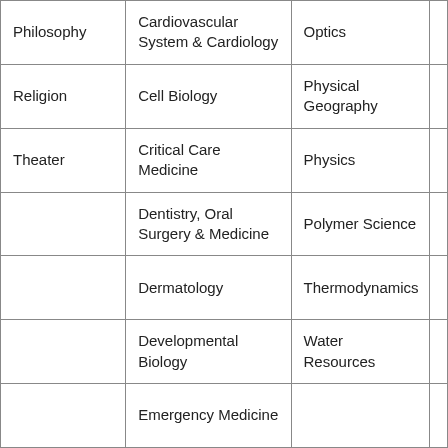| Philosophy | Cardiovascular System & Cardiology | Optics |  |
| Religion | Cell Biology | Physical Geography |  |
| Theater | Critical Care Medicine | Physics |  |
|  | Dentistry, Oral Surgery & Medicine | Polymer Science |  |
|  | Dermatology | Thermodynamics |  |
|  | Developmental Biology | Water Resources |  |
|  | Emergency Medicine |  |  |